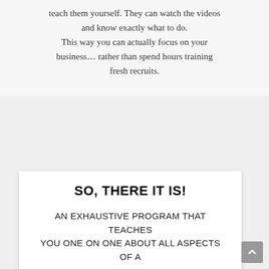teach them yourself. They can watch the videos and know exactly what to do. This way you can actually focus on your business… rather than spend hours training fresh recruits.
SO, THERE IT IS!
AN EXHAUSTIVE PROGRAM THAT TEACHES YOU ONE ON ONE ABOUT ALL ASPECTS OF A